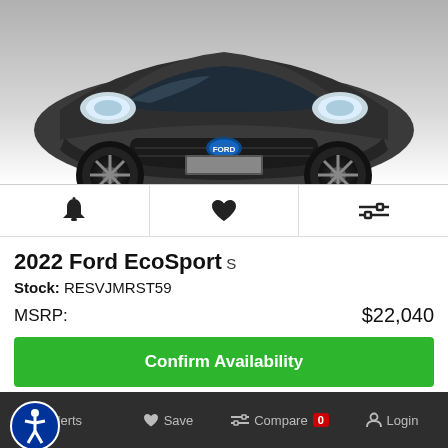[Figure (photo): Front view of a dark grey 2022 Ford EcoSport SUV on a white/light grey background]
[Figure (infographic): Three icon buttons row: bell/alert icon, heart/save icon, compare/transfer icon]
2022 Ford EcoSport S
Stock: RESVJMRST59
MSRP: $22,040
Confirm Availability
Order Unit Only
Alerts  Save  Compare 0  Login